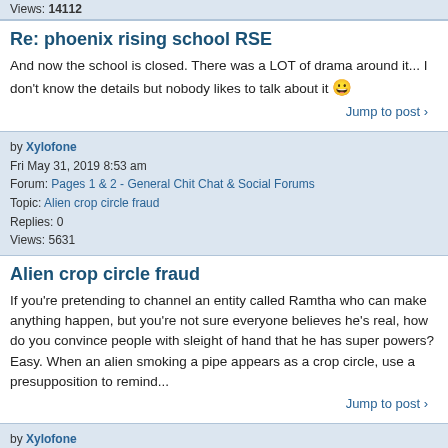Views: 14112
Re: phoenix rising school RSE
And now the school is closed. There was a LOT of drama around it... I don't know the details but nobody likes to talk about it 😀
Jump to post
by Xylofone
Fri May 31, 2019 8:53 am
Forum: Pages 1 & 2 - General Chit Chat & Social Forums
Topic: Alien crop circle fraud
Replies: 0
Views: 5631
Alien crop circle fraud
If you're pretending to channel an entity called Ramtha who can make anything happen, but you're not sure everyone believes he's real, how do you convince people with sleight of hand that he has super powers? Easy. When an alien smoking a pipe appears as a crop circle, use a presupposition to remind...
Jump to post
by Xylofone
Fri May 31, 2019 8:45 am
Forum: Pages 1 & 2 - General Chit Chat & Social Forums
Topic: Does anyone remember the "guy with the gun" in the audience?
Replies: 0
Views: 5615
Does anyone remember the "guy with the gun" in the audience?